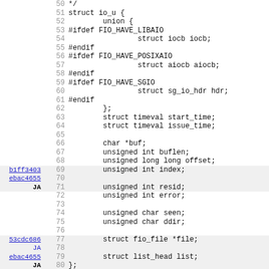Code listing lines 50-82 showing struct io_u definition in C source code with git annotations
| annotation | lineno | code |
| --- | --- | --- |
|  | 50 | */ |
|  | 51 | struct io_u { |
|  | 52 |         union { |
|  | 53 | #ifdef FIO_HAVE_LIBAIO |
|  | 54 |                 struct iocb iocb; |
|  | 55 | #endif |
|  | 56 | #ifdef FIO_HAVE_POSIXAIO |
|  | 57 |                 struct aiocb aiocb; |
|  | 58 | #endif |
|  | 59 | #ifdef FIO_HAVE_SGIO |
|  | 60 |                 struct sg_io_hdr hdr; |
|  | 61 | #endif |
|  | 62 |         }; |
|  | 63 |         struct timeval start_time; |
|  | 64 |         struct timeval issue_time; |
|  | 65 |  |
|  | 66 |         char *buf; |
|  | 67 |         unsigned int buflen; |
|  | 68 |         unsigned long long offset; |
| b1ff3403 | 69 |         unsigned int index; |
| ebac4655 | 70 |  |
| JA (bold) | 71 |         unsigned int resid; |
|  | 72 |         unsigned int error; |
|  | 73 |  |
|  | 74 |         unsigned char seen; |
|  | 75 |         unsigned char ddir; |
|  | 76 |  |
| 53cdc686 | 77 |         struct fio_file *file; |
| JA | 78 |  |
| ebac4655 | 79 |         struct list_head list; |
| JA (bold) | 80 | }; |
|  | 81 |  |
|  | 82 | #define FIO_HDR_MAGIC  0xf00baef |